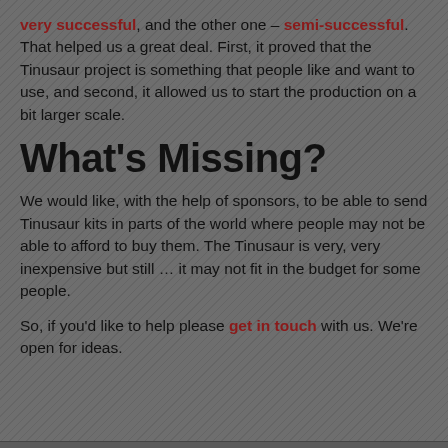very successful, and the other one – semi-successful. That helped us a great deal. First, it proved that the Tinusaur project is something that people like and want to use, and second, it allowed us to start the production on a bit larger scale.
What's Missing?
We would like, with the help of sponsors, to be able to send Tinusaur kits in parts of the world where people may not be able to afford to buy them. The Tinusaur is very, very inexpensive but still … it may not fit in the budget for some people.
So, if you'd like to help please get in touch with us. We're open for ideas.